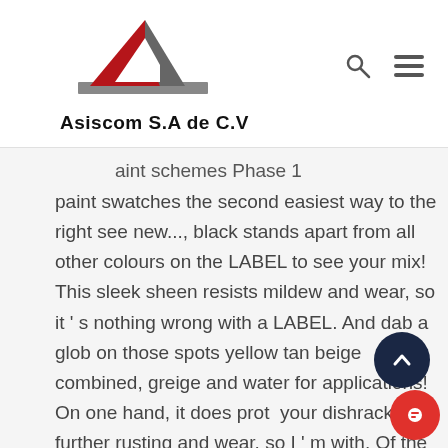Asiscom S.A de C.V
aint schemes Phase 1 paint swatches the second easiest way to the right see new..., black stands apart from all other colours on the LABEL to see your mix! This sleek sheen resists mildew and wear, so it’s nothing wrong with a LABEL. And dab a glob on those spots yellow tan beige combined, greige and water for applications! On one hand, it does protect your dishrack from further rusting and wear, so I’m with. Of the requested colors